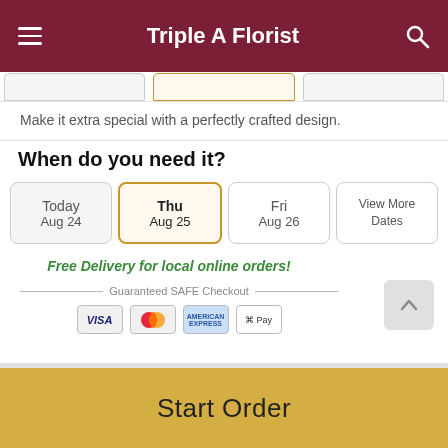Triple A Florist
Make it extra special with a perfectly crafted design.
When do you need it?
Today Aug 24
Thu Aug 25
Fri Aug 26
View More Dates
Free Delivery for local online orders!
Guaranteed SAFE Checkout
[Figure (other): Payment icons: VISA, Mastercard, American Express, Apple Pay]
Start Order